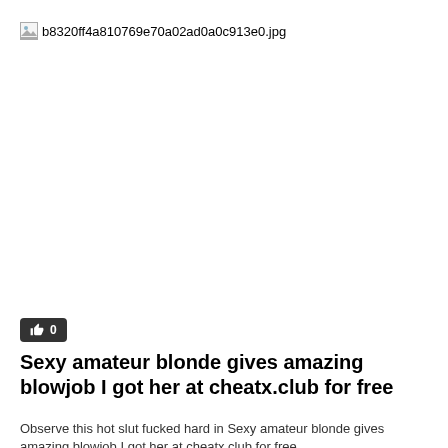[Figure (photo): Broken image placeholder showing filename: b8320ff4a810769e70a02ad0a0c913e0.jpg]
👍 0
Sexy amateur blonde gives amazing blowjob I got her at cheatx.club for free
Observe this hot slut fucked hard in Sexy amateur blonde gives amazing blowjob I got her at cheatx.club for free